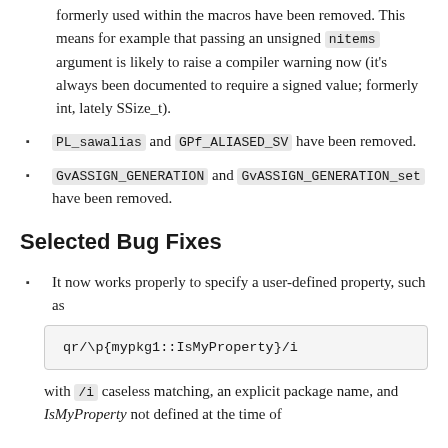formerly used within the macros have been removed. This means for example that passing an unsigned nitems argument is likely to raise a compiler warning now (it's always been documented to require a signed value; formerly int, lately SSize_t).
PL_sawalias and GPf_ALIASED_SV have been removed.
GvASSIGN_GENERATION and GvASSIGN_GENERATION_set have been removed.
Selected Bug Fixes
It now works properly to specify a user-defined property, such as
with /i caseless matching, an explicit package name, and IsMyProperty not defined at the time of